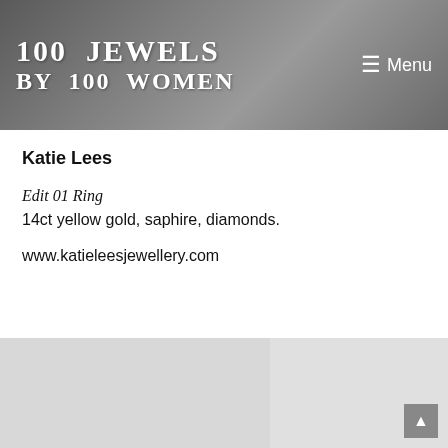100 JEWELS BY 100 WOMEN
Katie Lees
Edit 01 Ring
14ct yellow gold, saphire, diamonds.
www.katieleesjewellery.com
[Figure (photo): Two image panels showing jewellery photographs, light grey placeholders]
[Figure (illustration): Scroll-to-top button with upward arrow on right side of image panel]